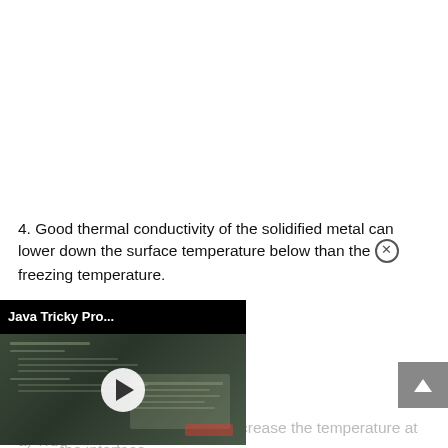4. Good thermal conductivity of the solidified metal can lower down the surface temperature below than the freezing temperature.
[Figure (screenshot): A video overlay thumbnail labeled 'Java Tricky Pro...' with a play button over a dark screenshot of code/document content.]
...e solidifying casting can increase the temperature at the interface.
a) True